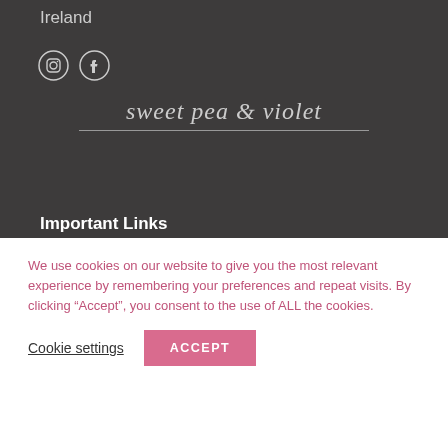Ireland
[Figure (logo): Instagram and Facebook social media icons (circular outline icons)]
[Figure (logo): Sweet pea & violet cursive/serif logo with horizontal line underneath]
Important Links
Privacy Policy
Returns Policy
We use cookies on our website to give you the most relevant experience by remembering your preferences and repeat visits. By clicking “Accept”, you consent to the use of ALL the cookies.
Cookie settings
ACCEPT